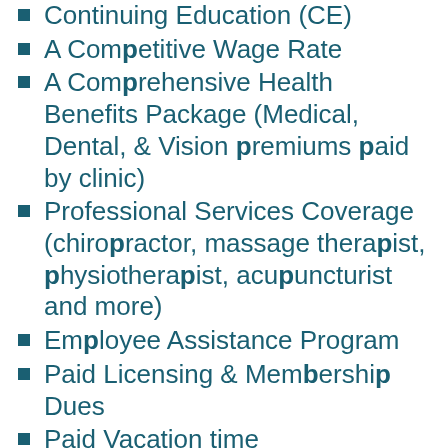Continuing Education (CE)
A Competitive Wage Rate
A Comprehensive Health Benefits Package (Medical, Dental, & Vision premiums paid by clinic)
Professional Services Coverage (chiropractor, massage therapist, physiotherapist, acupuncturist and more)
Employee Assistance Program
Paid Licensing & Membership Dues
Paid Vacation time
Paid Sick & Personal Days
Generous Veterinary Discounts (75% off services for your own